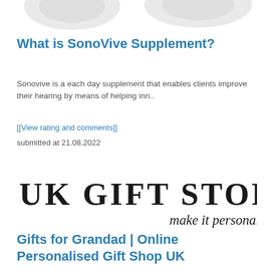[Figure (illustration): Partially visible decorative header image with grey/white shapes at the top of the page]
What is SonoVive Supplement?
Sonovive is a each day supplement that enables clients improve their hearing by means of helping inn..
[[View rating and comments]]
submitted at 21.08.2022
[Figure (logo): UK Gift Store Online logo with tagline 'make it personal']
Gifts for Grandad | Online Personalised Gift Shop UK